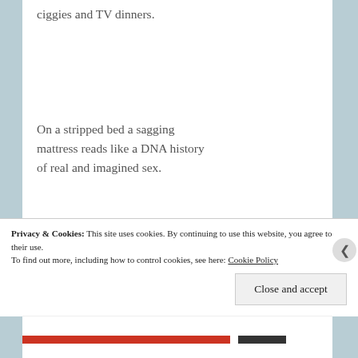ciggies and TV dinners.
On a stripped bed a sagging mattress reads like a DNA history of real and imagined sex.
'Tomorrow's World' on a grainy black and white TV peddles
Privacy & Cookies: This site uses cookies. By continuing to use this website, you agree to their use. To find out more, including how to control cookies, see here: Cookie Policy
Close and accept